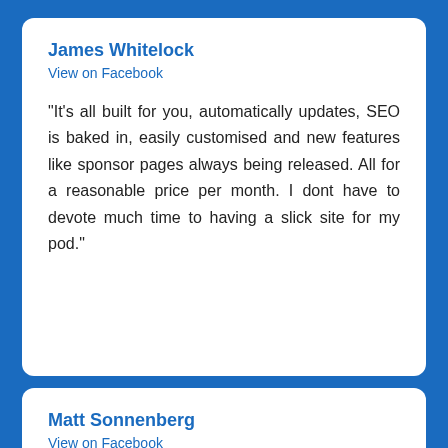James Whitelock
View on Facebook
"It's all built for you, automatically updates, SEO is baked in, easily customised and new features like sponsor pages always being released. All for a reasonable price per month. I dont have to devote much time to having a slick site for my pod."
Matt Sonnenberg
View on Facebook
"Podpage is fantastic. I just released a podcast